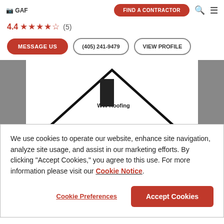[Figure (logo): GAF logo in top left corner]
FIND A CONTRACTOR
4.4 ★★★★½ (5)
MESSAGE US    (405) 241-9479    VIEW PROFILE
[Figure (illustration): House roofline logo with WW Roofing text, flanked by grey columns]
We use cookies to operate our website, enhance site navigation, analyze site usage, and assist in our marketing efforts. By clicking "Accept Cookies," you agree to this use. For more information please visit our Cookie Notice.
Cookie Preferences
Accept Cookies